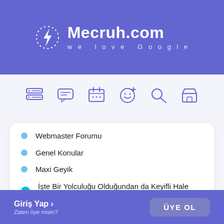[Figure (logo): Mecruh.com website header with lightning bolt logo icon, site title 'Mecruh.com' and tagline 'we love Google' on purple background]
[Figure (infographic): Navigation icon bar with 6 purple outline icons: server/database, chat, calendar, emoji/face with plus, search/magnifier, store/shop]
Webmaster Forumu
Genel Konular
Maxi Geyik
İşte Bir Yolculuğu Olduğundan da Keyifli Hale Getirecek Şarkı Önerileri
Giriş Yap > Zaten üye misin? ÜYE OL